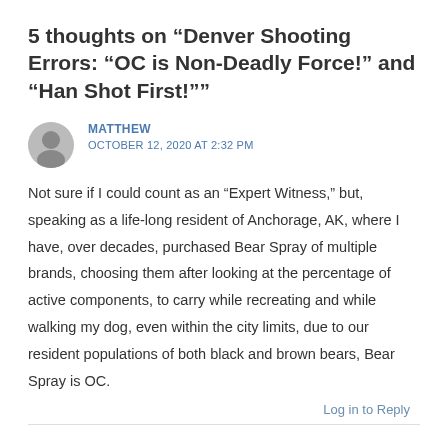5 thoughts on “Denver Shooting Errors: “OC is Non-Deadly Force!” and “Han Shot First!””
MATTHEW
OCTOBER 12, 2020 AT 2:32 PM
Not sure if I could count as an “Expert Witness,” but, speaking as a life-long resident of Anchorage, AK, where I have, over decades, purchased Bear Spray of multiple brands, choosing them after looking at the percentage of active components, to carry while recreating and while walking my dog, even within the city limits, due to our resident populations of both black and brown bears, Bear Spray is OC.
Log in to Reply